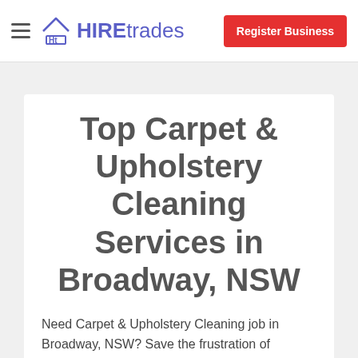HIREtrades | Register Business
Top Carpet & Upholstery Cleaning Services in Broadway, NSW
Need Carpet & Upholstery Cleaning job in Broadway, NSW? Save the frustration of chasing prices and let the tradies come to you.
Post your job on HIREtrades.com.au in just a few minutes - it is so simple to use. For users on the